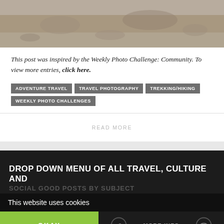[Figure (photo): Top portion of a photograph showing natural outdoor terrain (dirt/ground, brownish tones), partially cropped at top of page]
This post was inspired by the Weekly Photo Challenge: Community. To view more entries, click here.
ADVENTURE TRAVEL
TRAVEL PHOTOGRAPHY
TREKKING/HIKING
WEEKLY PHOTO CHALLENGES
READ MORE
DROP DOWN MENU OF ALL TRAVEL, CULTURE AND SOCIAL GOOD POSTS BY SUBJECT
This website uses cookies
OKAY
MORE INFO